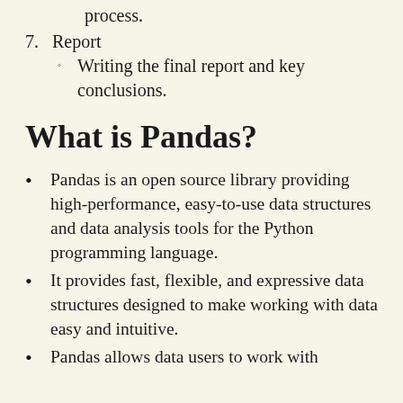process.
7. Report
  ◦ Writing the final report and key conclusions.
What is Pandas?
Pandas is an open source library providing high-performance, easy-to-use data structures and data analysis tools for the Python programming language.
It provides fast, flexible, and expressive data structures designed to make working with data easy and intuitive.
Pandas allows data users to work with